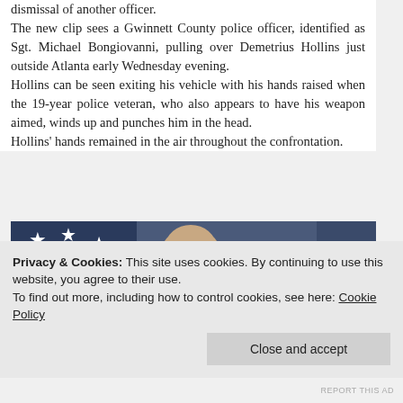dismissal of another officer.
The new clip sees a Gwinnett County police officer, identified as Sgt. Michael Bongiovanni, pulling over Demetrius Hollins just outside Atlanta early Wednesday evening.
Hollins can be seen exiting his vehicle with his hands raised when the 19-year police veteran, who also appears to have his weapon aimed, winds up and punches him in the head.
Hollins' hands remained in the air throughout the confrontation.
[Figure (photo): Photo of a man in front of an American flag with stars visible, dark blue background]
Privacy & Cookies: This site uses cookies. By continuing to use this website, you agree to their use.
To find out more, including how to control cookies, see here: Cookie Policy
Close and accept
REPORT THIS AD